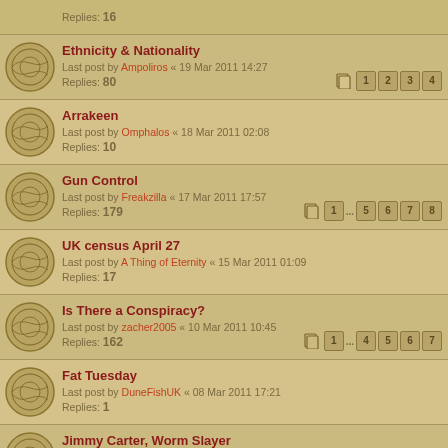Replies: 16
Ethnicity & Nationality
Last post by Ampoliros « 19 Mar 2011 14:27
Replies: 80
Arrakeen
Last post by Omphalos « 18 Mar 2011 02:08
Replies: 10
Gun Control
Last post by Freakzilla « 17 Mar 2011 17:57
Replies: 179
UK census April 27
Last post by A Thing of Eternity « 15 Mar 2011 01:09
Replies: 17
Is There a Conspiracy?
Last post by zacher2005 « 10 Mar 2011 10:45
Replies: 162
Fat Tuesday
Last post by DuneFishUK « 08 Mar 2011 17:21
Replies: 1
Jimmy Carter, Worm Slayer
Last post by Eyes High « 05 Mar 2011 21:32
Replies: 1
Philip K Dick
Last post by Abraxas « 05 Mar 2011 08:23
Replies: 19